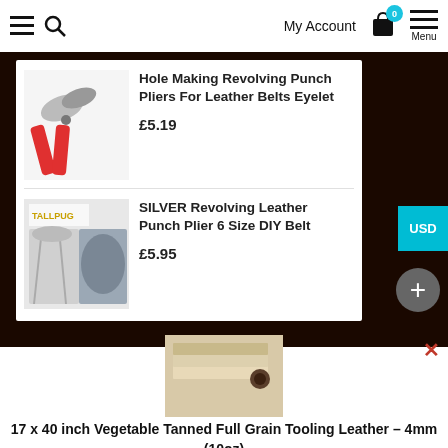≡  🔍   My Account  🛒 0   Menu
[Figure (photo): Red-handled revolving hole punch pliers for leather belts]
Hole Making Revolving Punch Pliers For Leather Belts Eyelet
£5.19
[Figure (photo): Silver revolving leather punch plier 6 size DIY belt tool with brand logo TALLPUG]
SILVER Revolving Leather Punch Plier 6 Size DIY Belt
£5.95
[Figure (photo): Stack of vegetable tanned full grain tooling leather sheets]
17 x 40 inch Vegetable Tanned Full Grain Tooling Leather – 4mm (10oz)